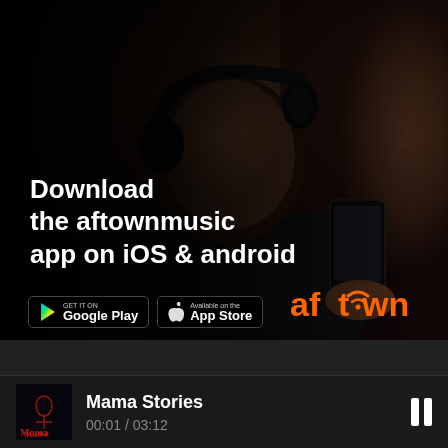[Figure (photo): Advertisement showing a young man wearing black headphones and holding a smartphone, with overlay text promoting the Aftown Music app download on iOS and Android, Google Play and App Store badges visible, Aftown logo in orange bottom right]
Download
the aftownmusic
app on iOS & android
Mama Stories
00:01 / 03:12